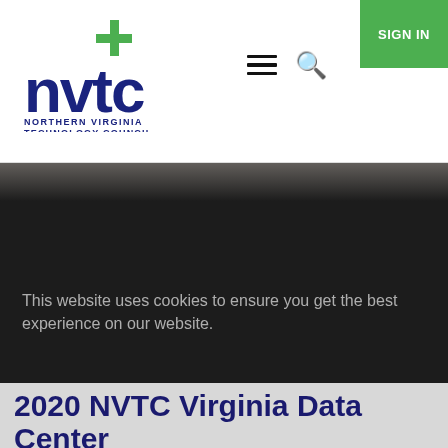[Figure (logo): NVTC (Northern Virginia Technology Council) logo — blue and green stylized letters with a cross/plus symbol]
[Figure (screenshot): Navigation bar with hamburger menu icon, search icon, and green SIGN IN button]
[Figure (photo): Dark hero image area with partial photo peek at top showing office/data center environment]
This website uses cookies to ensure you get the best experience on our website.
Got it!
2020 NVTC Virginia Data Center